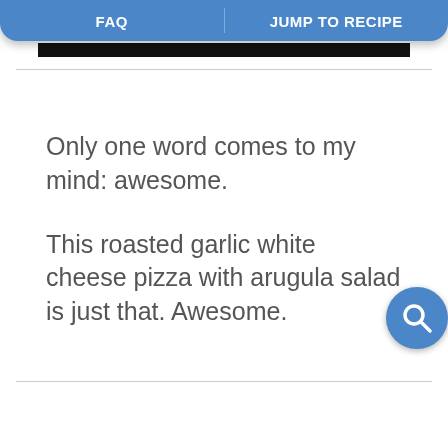FAQ | JUMP TO RECIPE
Only one word comes to my mind: awesome.
This roasted garlic white cheese pizza with arugula salad is just that. Awesome.